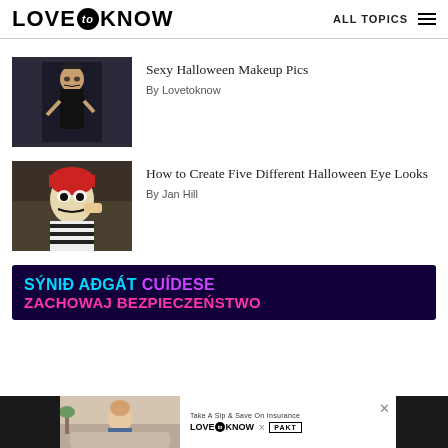LOVE to KNOW — ALL TOPICS
[Figure (photo): Woman in dark Halloween skeleton makeup and costume posing dramatically]
Sexy Halloween Makeup Pics
By Lovetoknow
[Figure (photo): Person with Day of the Dead Halloween clown face paint being applied, wearing striped shirt]
How to Create Five Different Halloween Eye Looks
By Jan Hill
[Figure (infographic): Dark purple ad banner with multilingual text: SÝNIÐ AÐGÁT CUÍDESE ZACHOWAJ BEZPIECZEŃSTWO]
[Figure (screenshot): Bottom advertisement bar: Take A Sip & Save On Insurance — LOVE to KNOW X PAKT]